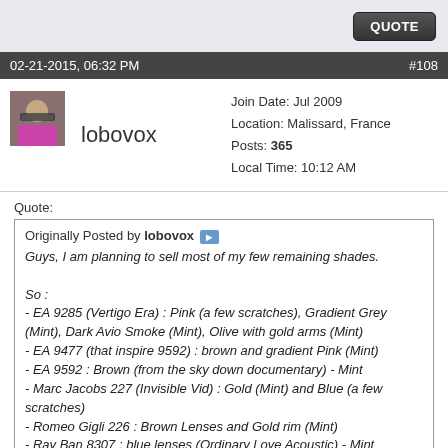QUOTE
02-21-2015, 06:32 PM   #108
lobovox
Join Date: Jul 2009
Location: Malissard, France
Posts: 365
Local Time: 10:12 AM
Quote:
Originally Posted by lobovox
Guys, I am planning to sell most of my few remaining shades.

So :
- EA 9285 (Vertigo Era) : Pink (a few scratches), Gradient Grey (Mint), Dark Avio Smoke (Mint), Olive with gold arms (Mint)
- EA 9477 (that inspire 9592) : brown and gradient Pink (Mint)
- EA 9592 : Brown (from the sky down documentary) - Mint
- Marc Jacobs 227 (Invisible Vid) : Gold (Mint) and Blue (a few scratches)
- Romeo Gigli 226 : Brown Lenses and Gold rim (Mint)
- Ray Ban 8307 : blue lenses (Ordinary Love Acoustic) - Mint

All prices with b...